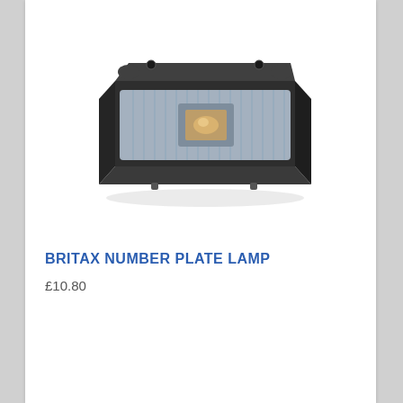[Figure (photo): A Britax number plate lamp unit with a dark housing and clear ridged lens, photographed on a white background.]
BRITAX NUMBER PLATE LAMP
£10.80